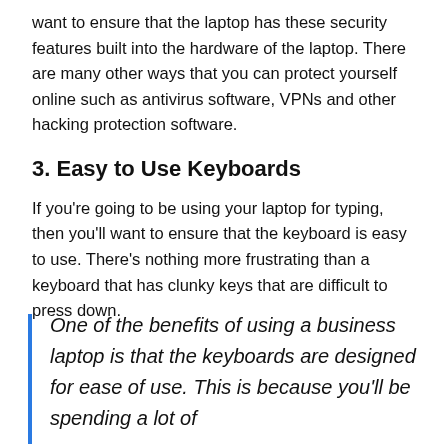want to ensure that the laptop has these security features built into the hardware of the laptop. There are many other ways that you can protect yourself online such as antivirus software, VPNs and other hacking protection software.
3. Easy to Use Keyboards
If you're going to be using your laptop for typing, then you'll want to ensure that the keyboard is easy to use. There's nothing more frustrating than a keyboard that has clunky keys that are difficult to press down.
One of the benefits of using a business laptop is that the keyboards are designed for ease of use. This is because you'll be spending a lot of